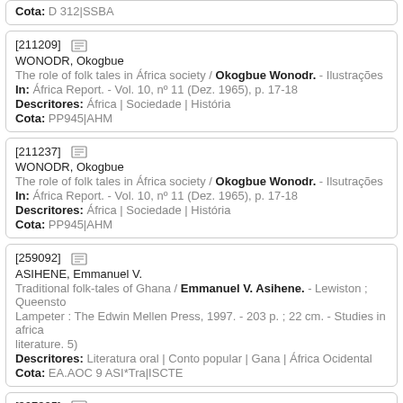Cota: D 312|SSBA
[211209] WONODR, Okogbue
The role of folk tales in África society / Okogbue Wonodr. - Ilustrações
In: África Report. - Vol. 10, nº 11 (Dez. 1965), p. 17-18
Descritores: África | Sociedade | História
Cota: PP945|AHM
[211237] WONODR, Okogbue
The role of folk tales in África society / Okogbue Wonodr. - Ilsutrações
In: África Report. - Vol. 10, nº 11 (Dez. 1965), p. 17-18
Descritores: África | Sociedade | História
Cota: PP945|AHM
[259092] ASIHENE, Emmanuel V.
Traditional folk-tales of Ghana / Emmanuel V. Asihene. - Lewiston ; Queensto
Lampeter : The Edwin Mellen Press, 1997. - 203 p. ; 22 cm. - Studies in africa
literature. 5)
Descritores: Literatura oral | Conto popular | Gana | África Ocidental
Cota: EA.AOC 9 ASI*Tra|ISCTE
[307325]